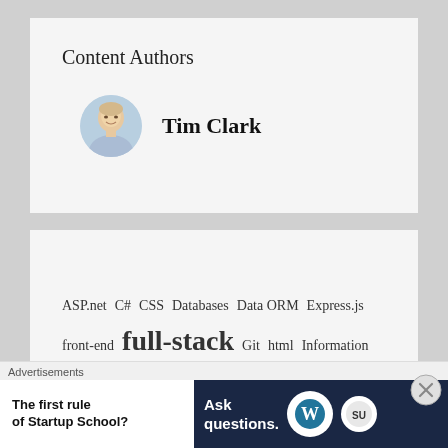Content Authors
Tim Clark
[Figure (photo): Circular headshot photo of Tim Clark, a man with short light hair wearing a light blue shirt, smiling]
ASP.net  C#  CSS  Databases  Data ORM  Express.js  front-end  full-stack  Git  html  Information  management  Javascript  ...  Node.js
Advertisements
The first rule of Startup School?
Ask questions.